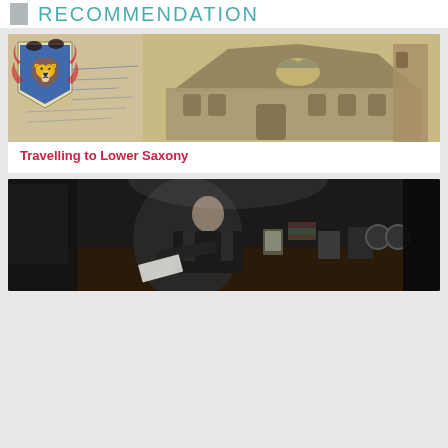RECOMMENDATION
[Figure (photo): Historical postcard image showing a Gothic-style building with a heraldic coat of arms (red lion on blue/white shield) in the upper left and handwritten text on the left side]
Travelling to Lower Saxony
[Figure (photo): Black and white photograph of a man in a suit sitting at a large desk in an office, surrounded by papers, books and office equipment, holding papers in his hands]